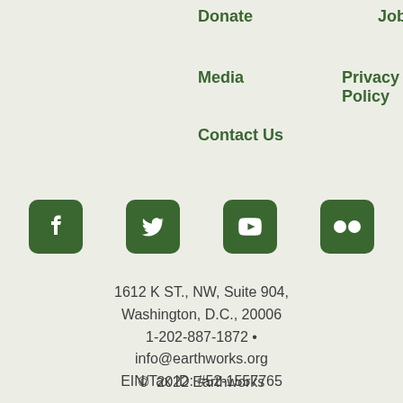Donate
Jobs
Media
Privacy Policy
Contact Us
[Figure (infographic): Social media icons: Facebook, Twitter, YouTube, Flickr — white icons on green rounded square backgrounds]
1612 K ST., NW, Suite 904, Washington, D.C., 20006
1-202-887-1872 •
info@earthworks.org
EIN/Tax ID: #52-1557765
© 2022 Earthworks